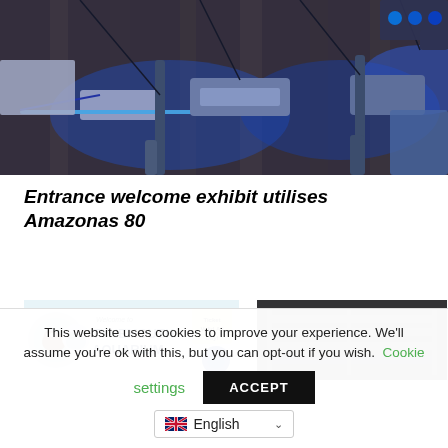[Figure (photo): Interior photo of an aquarium facility showing blue LED lighting rigs suspended from wooden beam ceiling, with cables and equipment visible against a rustic wooden wall background.]
Entrance welcome exhibit utilises Amazonas 80
[Figure (photo): Tynemouth Aquarium welcome banner showing logo and 'Ticket Valid All Day!' text.]
[Figure (photo): Close-up photo of aquarium equipment or racking, dark metallic surfaces.]
This website uses cookies to improve your experience. We'll assume you're ok with this, but you can opt-out if you wish. Cookie settings ACCEPT
English